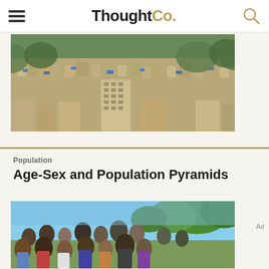ThoughtCo.
[Figure (photo): Aerial view of a densely packed urban settlement with buildings and blue rooftops, surrounded by trees.]
Population
Age-Sex and Population Pyramids
[Figure (photo): Group of people of various ages gathered outdoors under trees on a sunny day.]